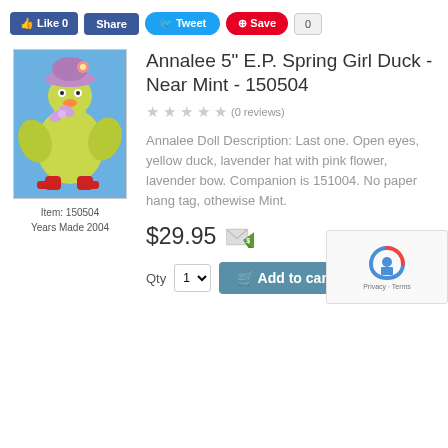[Figure (screenshot): Social sharing buttons: Like 0, Share (Facebook), Tweet (Twitter), Save (Pinterest) with count 0]
[Figure (photo): Annalee yellow duck doll wearing lavender hat with pink flower and bow, red boots, on blue background]
Item: 150504
Years Made 2004
Annalee 5" E.P. Spring Girl Duck - Near Mint - 150504
(0 reviews)
Annalee Doll Description: Last one. Open eyes, yellow duck, lavender hat with pink flower, lavender bow. Companion is 151004. No paper hang tag, othewise Mint.
$29.95
Qty  1   Add to cart